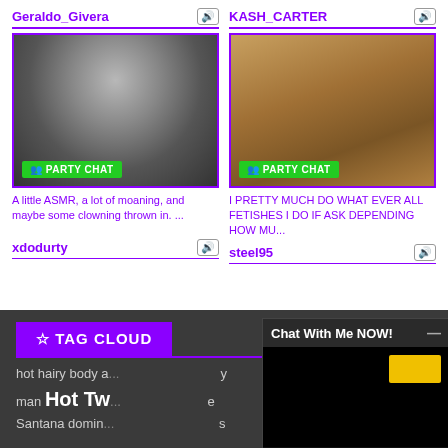Geraldo_Givera
[Figure (photo): Black and white photo of a person with mustache lying down]
A little ASMR, a lot of moaning, and maybe some clowning thrown in. ...
xdodurty
KASH_CARTER
[Figure (photo): Color photo of a tattooed person sitting in a car]
I PRETTY MUCH DO WHAT EVER ALL FETISHES I DO IF ASK DEPENDING HOW MU...
steel95
TAG CLOUD
hot hairy body a
man Hot Tw
Santana domin
Chat With Me NOW!